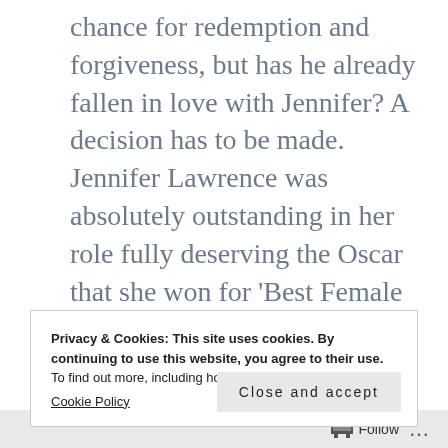chance for redemption and forgiveness, but has he already fallen in love with Jennifer? A decision has to be made. Jennifer Lawrence was absolutely outstanding in her role fully deserving the Oscar that she won for ‘Best Female Actor’ with Bradley Cooper playing an equally impressive and key part, with myself feeling that he deserved a lot more recognition. A beautiful film that I would
Privacy & Cookies: This site uses cookies. By continuing to use this website, you agree to their use.
To find out more, including how to control cookies, see here:
Cookie Policy
Close and accept
Follow